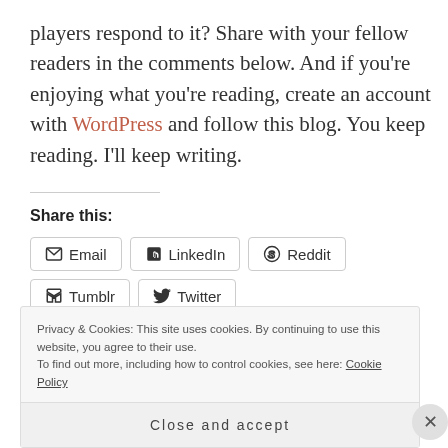players respond to it?  Share with your fellow readers in the comments below.  And if you're enjoying what you're reading, create an account with WordPress and follow this blog.  You keep reading.  I'll keep writing.
Share this:
Email | LinkedIn | Reddit | Tumblr | Twitter | Facebook
Privacy & Cookies: This site uses cookies. By continuing to use this website, you agree to their use.
To find out more, including how to control cookies, see here: Cookie Policy
Close and accept